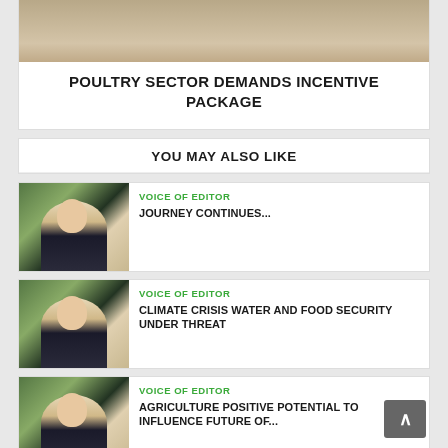[Figure (photo): Close-up photo of animal legs (poultry/goats) on sandy ground]
POULTRY SECTOR DEMANDS INCENTIVE PACKAGE
YOU MAY ALSO LIKE
[Figure (photo): Photo of an editor in dark suit with Pakistani flag background]
VOICE OF EDITOR
JOURNEY CONTINUES...
[Figure (photo): Photo of an editor in dark suit with Pakistani flag background]
VOICE OF EDITOR
CLIMATE CRISIS WATER AND FOOD SECURITY UNDER THREAT
[Figure (photo): Photo of an editor in dark suit with Pakistani flag background]
VOICE OF EDITOR
AGRICULTURE POSITIVE POTENTIAL TO INFLUENCE FUTURE OF...